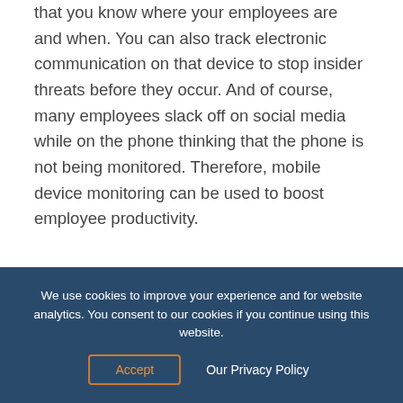that you know where your employees are and when. You can also track electronic communication on that device to stop insider threats before they occur. And of course, many employees slack off on social media while on the phone thinking that the phone is not being monitored. Therefore, mobile device monitoring can be used to boost employee productivity.
Time tracking: At its basic level, employee surveillance software is also used in order to boost productivity and keep track of employee time. Time
We use cookies to improve your experience and for website analytics. You consent to our cookies if you continue using this website.